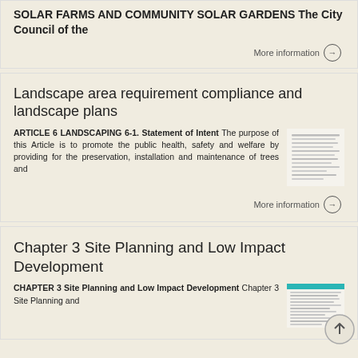SOLAR FARMS AND COMMUNITY SOLAR GARDENS The City Council of the
More information →
Landscape area requirement compliance and landscape plans
ARTICLE 6 LANDSCAPING 6-1. Statement of Intent The purpose of this Article is to promote the public health, safety and welfare by providing for the preservation, installation and maintenance of trees and
More information →
Chapter 3 Site Planning and Low Impact Development
CHAPTER 3 Site Planning and Low Impact Development Chapter 3 Site Planning and